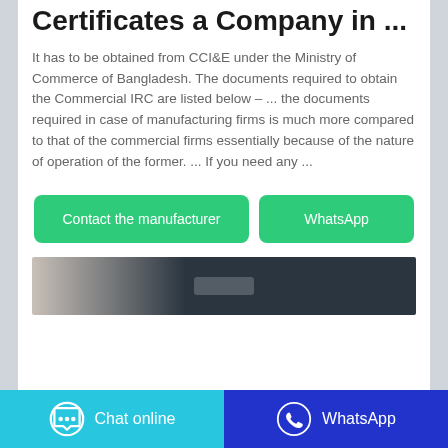Licenses, Permits & Certificates a Company in ...
It has to be obtained from CCI&E under the Ministry of Commerce of Bangladesh. The documents required to obtain the Commercial IRC are listed below – ... the documents required in case of manufacturing firms is much more compared to that of the commercial firms essentially because of the nature of operation of the former. ... If you need any ...
[Figure (other): Two action buttons: 'Contact the manufacturer' (green) and 'WhatsApp' (green)]
[Figure (photo): Partial preview of an image, dark background with blurred content]
Chat online | WhatsApp